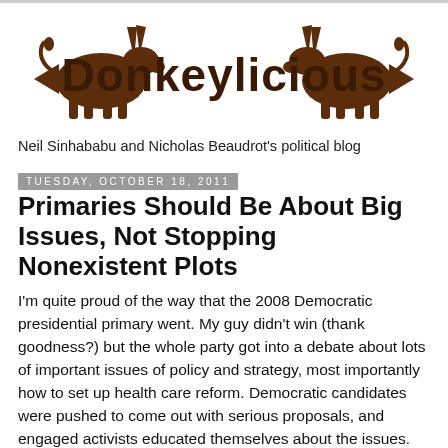[Figure (logo): Donkeylicious blog logo with two brown donkey silhouettes flanking the bold text 'Donkeylicious']
Neil Sinhababu and Nicholas Beaudrot's political blog
Tuesday, October 18, 2011
Primaries Should Be About Big Issues, Not Stopping Nonexistent Plots
I'm quite proud of the way that the 2008 Democratic presidential primary went. My guy didn't win (thank goodness?) but the whole party got into a debate about lots of important issues of policy and strategy, most importantly how to set up health care reform. Democratic candidates were pushed to come out with serious proposals, and engaged activists educated themselves about the issues. I'm still impressed that so many people spent so much time learning and arguing about the wonky issue of mandates. A party consensus developed around a health care plan that